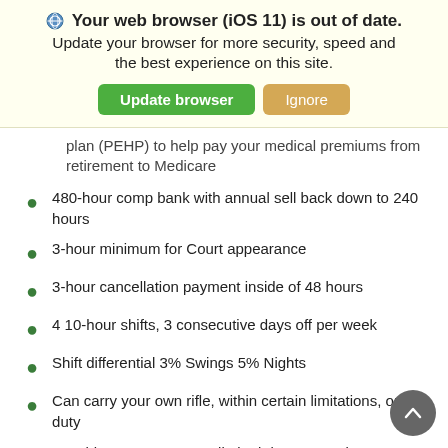[Figure (screenshot): Browser update banner with title 'Your web browser (iOS 11) is out of date.' and subtitle 'Update your browser for more security, speed and the best experience on this site.' with two buttons: 'Update browser' (green) and 'Ignore' (tan/orange)]
...and placed in a post employment healthcare plan (PEHP) to help pay your medical premiums from retirement to Medicare
480-hour comp bank with annual sell back down to 240 hours
3-hour minimum for Court appearance
3-hour cancellation payment inside of 48 hours
4 10-hour shifts, 3 consecutive days off per week
Shift differential 3% Swings 5% Nights
Can carry your own rifle, within certain limitations, on duty
Monthly open range – unlimited department issue hand gun ammunition available to all officers at no